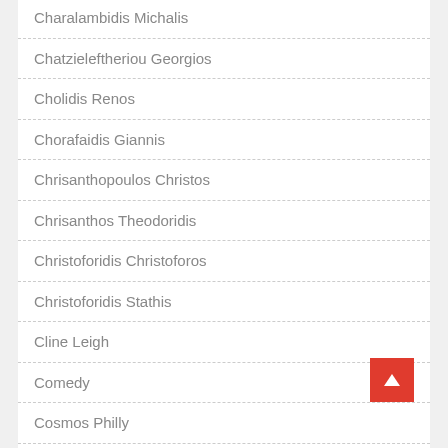Charalambidis Michalis
Chatzieleftheriou Georgios
Cholidis Renos
Chorafaidis Giannis
Chrisanthopoulos Christos
Chrisanthos Theodoridis
Christoforidis Christoforos
Christoforidis Stathis
Cline Leigh
Comedy
Cosmos Philly
Dalaras Giorgos
Dallas Dimitrios